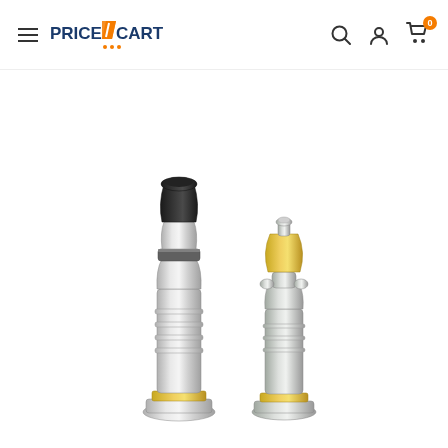PriceCart - navigation header with hamburger menu, logo, search, account, and cart icons
[Figure (photo): Two metal hose nozzles side by side on white background. Left nozzle is taller with a black rubber tip at top, silver/chrome body with ridged grip sections and a brass fitting at the base. Right nozzle is shorter with a flared top, silver/chrome body with similar ridged grip and brass base fitting.]